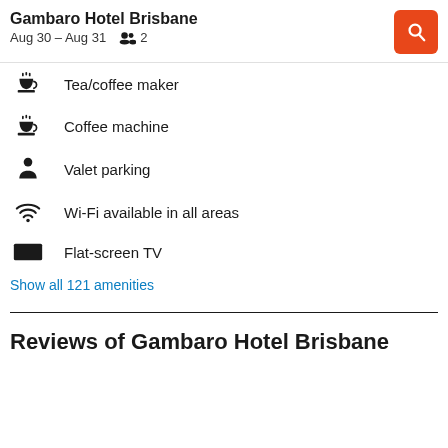Gambaro Hotel Brisbane | Aug 30 – Aug 31 | 2 guests
Tea/coffee maker
Coffee machine
Valet parking
Wi-Fi available in all areas
Flat-screen TV
Show all 121 amenities
Reviews of Gambaro Hotel Brisbane